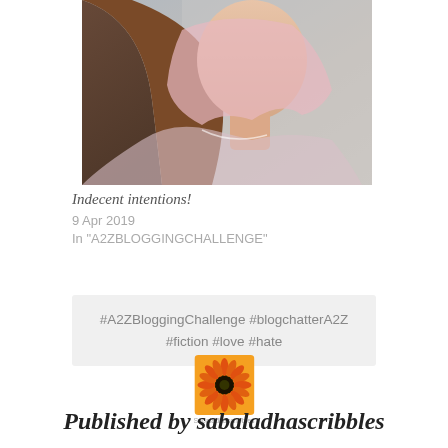[Figure (photo): Portrait photo of a young woman with long dark hair, wearing a soft pink sheer top, blurred background]
Indecent intentions!
9 Apr 2019
In "A2ZBLOGGINGCHALLENGE"
#A2ZBloggingChallenge #blogchatterA2Z #fiction #love #hate
[Figure (logo): Small square logo with an orange gerbera daisy flower, labelled Sabaladhascribbles]
Published by sabaladhascribbles